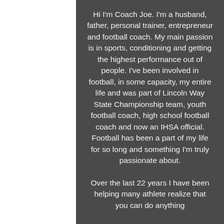Hi I'm Coach Joe. I'm a husband, father, personal trainer, entrepreneur and football coach. My main passion is in sports, conditioning and getting the highest performance out of people. I've been involved in football, in some capacity, my entire life and was part of Lincoln Way State Championship team, youth football coach, high school football coach and now an IHSA official. Football has been a part of my life for so long and something I'm truly passionate about.
Over the last 22 years I have been helping many athlete realize that you can do anything